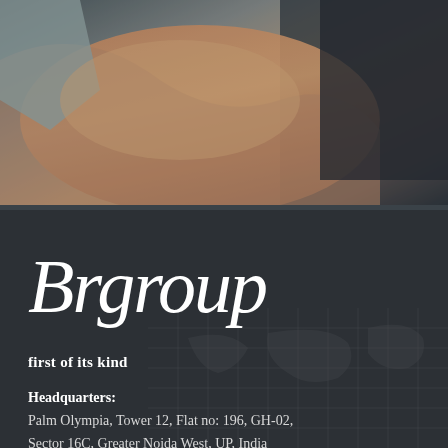[Figure (photo): Close-up photo of a person's arm/shoulder crossed, with skin tones against a dark textured background]
Brgroup
first of its kind
Headquarters:
Palm Olympia, Tower 12, Flat no: 196, GH-02, Sector 16C, Greater Noida West, UP, India